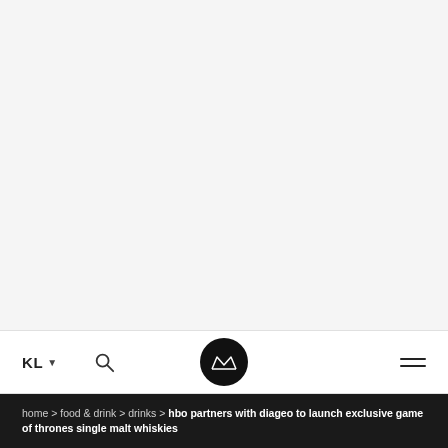[Figure (photo): Large hero image area, mostly light gray/white, representing a website header photo]
KL ▾  [search icon]  [crown logo]  [hamburger menu]
home > food & drink > drinks > hbo partners with diageo to launch exclusive game of thrones single malt whiskies